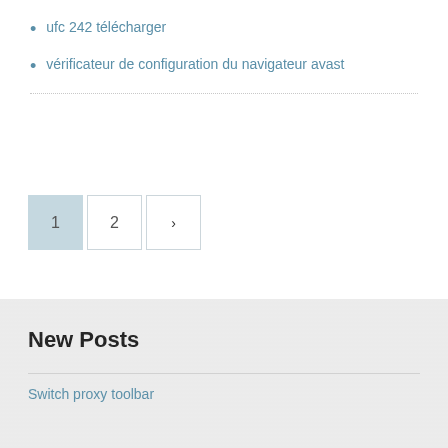ufc 242 télécharger
vérificateur de configuration du navigateur avast
1  2  >
New Posts
Switch proxy toolbar